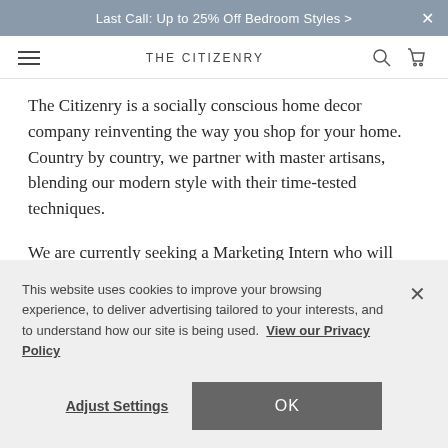Last Call: Up to 25% Off Bedroom Styles >
THE CITIZENRY
The Citizenry is a socially conscious home decor company reinventing the way you shop for your home. Country by country, we partner with master artisans, blending our modern style with their time-tested techniques.
We are currently seeking a Marketing Intern who will help in the development and execution of brand initiatives that tell our story across all channels. You'll be working directly with a Brand Marketing Director and Creative Team...
This website uses cookies to improve your browsing experience, to deliver advertising tailored to your interests, and to understand how our site is being used. View our Privacy Policy
Adjust Settings
OK